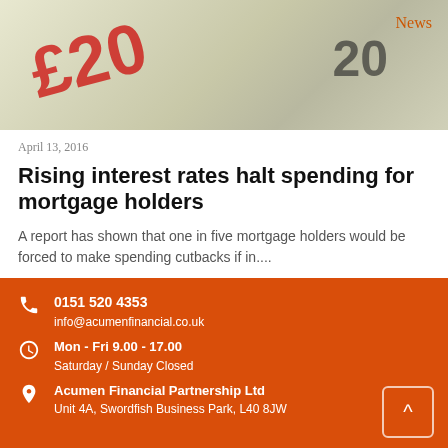[Figure (photo): Photo of British £20 banknotes arranged in a house shape]
News
April 13, 2016
Rising interest rates halt spending for mortgage holders
A report has shown that one in five mortgage holders would be forced to make spending cutbacks if in....
Read more
0151 520 4353
info@acumenfinancial.co.uk
Mon - Fri 9.00 - 17.00
Saturday / Sunday Closed
Acumen Financial Partnership Ltd
Unit 4A, Swordfish Business Park, L40 8JW